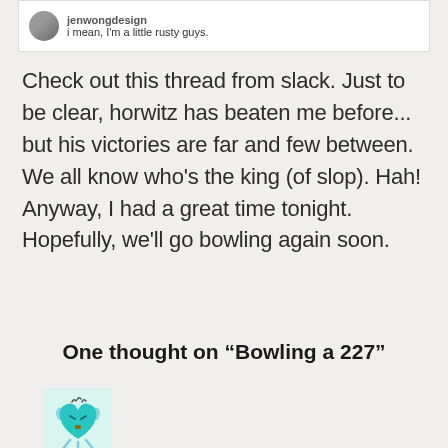[Figure (screenshot): Screenshot of a Slack message from user 'jenwongdesign' saying 'i mean, I'm a little rusty guys.']
Check out this thread from slack. Just to be clear, horwitz has beaten me before... but his victories are far and few between. We all know who's the king (of slop). Hah! Anyway, I had a great time tonight. Hopefully, we'll go bowling again soon.
One thought on “Bowling a 227”
[Figure (illustration): Cartoon avatar of a teal heart-shaped character with wings/arms and legs]
1. Appy on March 18, 2015 at 3:53